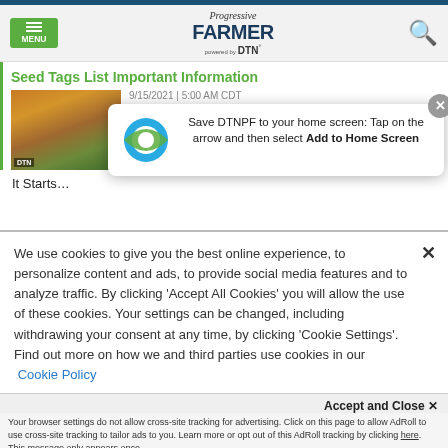Progressive Farmer powered by DTN — navigation header
Seed Tags List Important Information
9/15/2021 | 5:00 AM CDT
Seed tags can provide details … GM
[Figure (screenshot): Home screen save prompt: Save DTNPF to your home screen: Tap on the arrow and then select Add to Home Screen]
It Starts…
We use cookies to give you the best online experience, to personalize content and ads, to provide social media features and to analyze traffic. By clicking 'Accept All Cookies' you will allow the use of these cookies. Your settings can be changed, including withdrawing your consent at any time, by clicking 'Cookie Settings'. Find out more on how we and third parties use cookies in our  Cookie Policy
Accept and Close ✕
Your browser settings do not allow cross-site tracking for advertising. Click on this page to allow AdRoll to use cross-site tracking to tailor ads to you. Learn more or opt out of this AdRoll tracking by clicking here. This message only appears once.